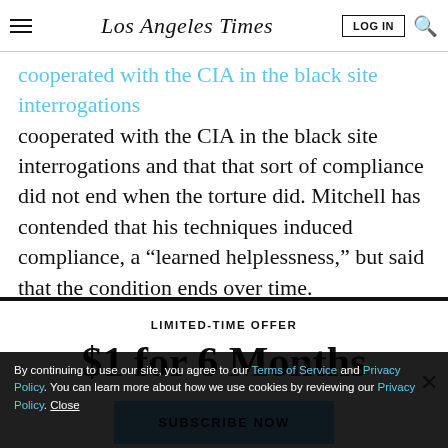Los Angeles Times
cooperated with the CIA in the black site interrogations and that that sort of compliance did not end when the torture did. Mitchell has contended that his techniques induced compliance, a “learned helplessness,” but said that the condition ends over time.
LIMITED-TIME OFFER
$1 for 6 Months
SUBSCRIBE NOW
By continuing to use our site, you agree to our Terms of Service and Privacy Policy. You can learn more about how we use cookies by reviewing our Privacy Policy. Close